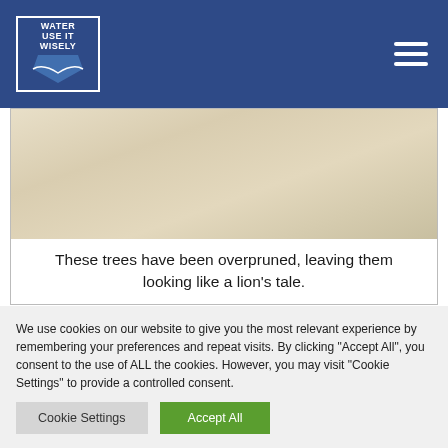Water Use It Wisely
[Figure (photo): Photo of overpruned trees with sandy/soil background, showing lion's tail pruning damage]
These trees have been overpruned, leaving them looking like a lion's tale.
Remove structural defects first. This includes narrow angles of branch attachment, co-dominant
We use cookies on our website to give you the most relevant experience by remembering your preferences and repeat visits. By clicking "Accept All", you consent to the use of ALL the cookies. However, you may visit "Cookie Settings" to provide a controlled consent.